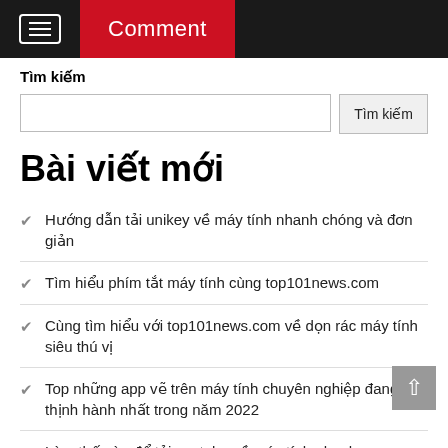Comment
Tìm kiếm
Tìm kiếm (search box and button)
Bài viết mới
Hướng dẫn tải unikey về máy tính nhanh chóng và đơn giản
Tìm hiểu phím tắt máy tính cùng top101news.com
Cùng tìm hiểu với top101news.com về dọn rác máy tính siêu thú vị
Top những app vẽ trên máy tính chuyên nghiệp đang thịnh hành nhất trong năm 2022
Làm thế nào để tải youtube về máy tính nhanh